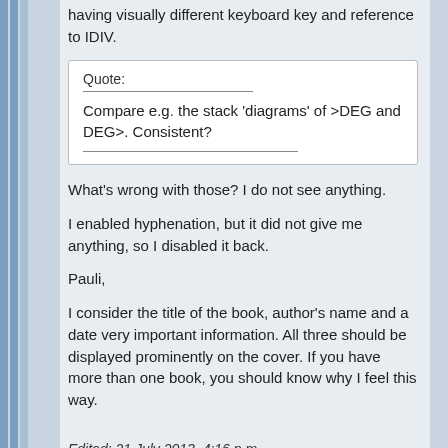having visually different keyboard key and reference to IDIV.
Quote:
Compare e.g. the stack 'diagrams' of >DEG and DEG>. Consistent?
What's wrong with those? I do not see anything.
I enabled hyphenation, but it did not give me anything, so I disabled it back.
Pauli,
I consider the title of the book, author's name and a date very important information. All three should be displayed prominently on the cover. If you have more than one book, you should know why I feel this way.
Edited: 21 July 2013, 4:16 p.m.